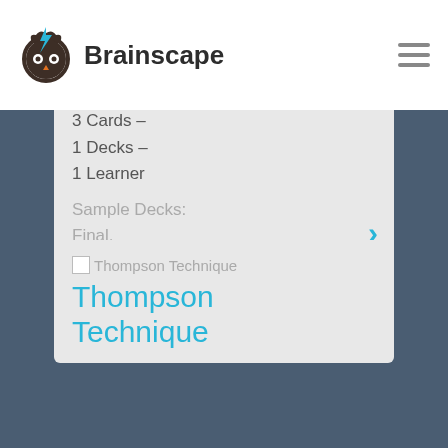[Figure (logo): Brainscape logo: circular owl face icon with blue lightning bolt, next to bold text 'Brainscape']
Clinical Psych
FLASHCARD MAKER
SALLY JUNE
3 Cards –
1 Decks –
1 Learner
Sample Decks:
Final,
Thompson Technique